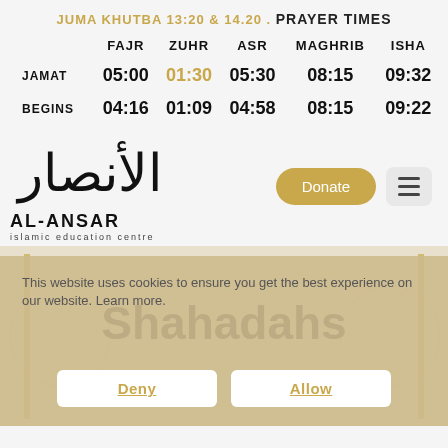JUMA KHUTBA 13:20 & 14.20 . PRAYER TIMES
|  | FAJR | ZUHR | ASR | MAGHRIB | ISHA |
| --- | --- | --- | --- | --- | --- |
| JAMAT | 05:00 | 01:30 | 05:30 | 08:15 | 09:32 |
| BEGINS | 04:16 | 01:09 | 04:58 | 08:15 | 09:22 |
[Figure (logo): Al-Ansar Islamic Education Centre logo with Arabic calligraphy above and text AL-ANSAR / islamic education centre below]
Donate
This website uses cookies to ensure you get the best experience on our website. Learn more.
Shahadahs
Deny
Allow